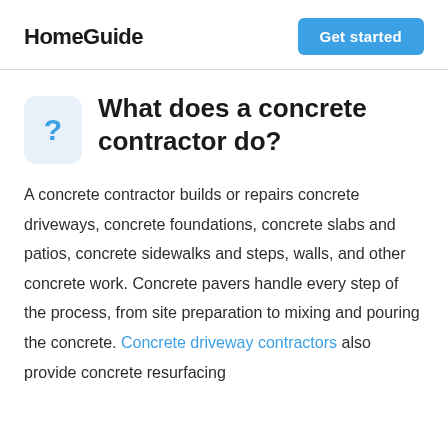HomeGuide | Get started
What does a concrete contractor do?
A concrete contractor builds or repairs concrete driveways, concrete foundations, concrete slabs and patios, concrete sidewalks and steps, walls, and other concrete work. Concrete pavers handle every step of the process, from site preparation to mixing and pouring the concrete. Concrete driveway contractors also provide concrete resurfacing